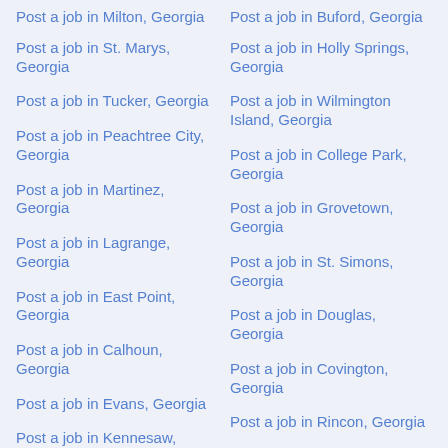Post a job in Milton, Georgia
Post a job in Buford, Georgia
Post a job in St. Marys, Georgia
Post a job in Holly Springs, Georgia
Post a job in Tucker, Georgia
Post a job in Wilmington Island, Georgia
Post a job in Peachtree City, Georgia
Post a job in College Park, Georgia
Post a job in Martinez, Georgia
Post a job in Grovetown, Georgia
Post a job in Lagrange, Georgia
Post a job in St. Simons, Georgia
Post a job in East Point, Georgia
Post a job in Douglas, Georgia
Post a job in Calhoun, Georgia
Post a job in Covington, Georgia
Post a job in Evans, Georgia
Post a job in Rincon, Georgia
Post a job in Kennesaw
Post a job in ...